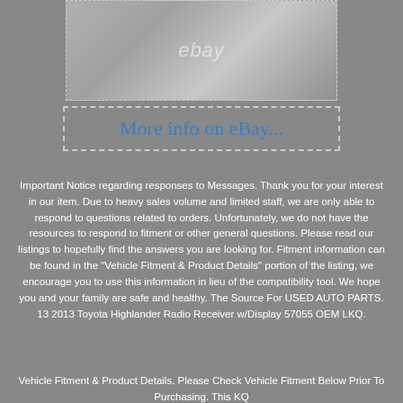[Figure (photo): Photo of a car radio/receiver component with eBay watermark overlay]
More info on eBay...
Important Notice regarding responses to Messages. Thank you for your interest in our item. Due to heavy sales volume and limited staff, we are only able to respond to questions related to orders. Unfortunately, we do not have the resources to respond to fitment or other general questions. Please read our listings to hopefully find the answers you are looking for. Fitment information can be found in the "Vehicle Fitment & Product Details" portion of the listing, we encourage you to use this information in lieu of the compatibility tool. We hope you and your family are safe and healthy. The Source For USED AUTO PARTS. 13 2013 Toyota Highlander Radio Receiver w/Display 57055 OEM LKQ.
Vehicle Fitment & Product Details. Please Check Vehicle Fitment Below Prior To Purchasing. This KQ